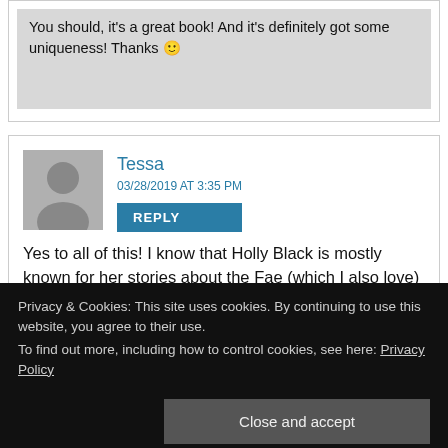You should, it's a great book! And it's definitely got some uniqueness! Thanks 🙂
Tessa
03/28/2019 AT 3:35 PM
REPLY
Yes to all of this! I know that Holly Black is mostly known for her stories about the Fae (which I also love) but she should get more credit for her vampires! The Coldest Girl in Coldtown avoided all of the cringey vampire tropes by keeping the characters, both human and vampire, complex and interesting. I also loved that it was a very morally gray world that, like you appreciated too!). I don't know if it makes sense, but I just like a
Privacy & Cookies: This site uses cookies. By continuing to use this website, you agree to their use.
To find out more, including how to control cookies, see here: Privacy Policy
Close and accept